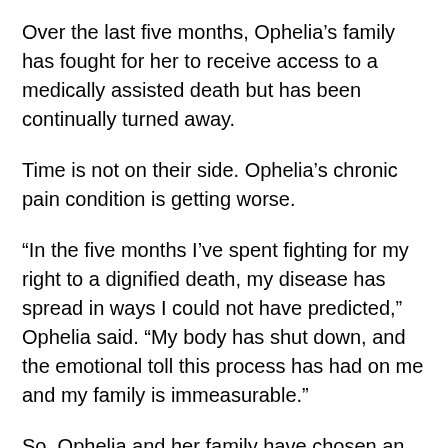Over the last five months, Ophelia’s family has fought for her to receive access to a medically assisted death but has been continually turned away.
Time is not on their side. Ophelia’s chronic pain condition is getting worse.
“In the five months I’ve spent fighting for my right to a dignified death, my disease has spread in ways I could not have predicted,” Ophelia said. “My body has shut down, and the emotional toll this process has had on me and my family is immeasurable.”
So, Ophelia and her family have chosen an ever more